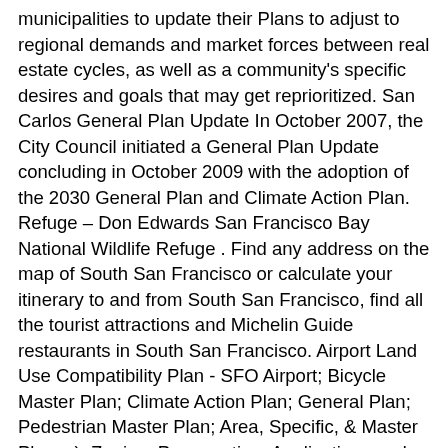municipalities to update their Plans to adjust to regional demands and market forces between real estate cycles, as well as a community's specific desires and goals that may get reprioritized. San Carlos General Plan Update In October 2007, the City Council initiated a General Plan Update concluding in October 2009 with the adoption of the 2030 General Plan and Climate Action Plan. Refuge – Don Edwards San Francisco Bay National Wildlife Refuge . Find any address on the map of South San Francisco or calculate your itinerary to and from South San Francisco, find all the tourist attractions and Michelin Guide restaurants in South San Francisco. Airport Land Use Compatibility Plan - SFO Airport; Bicycle Master Plan; Climate Action Plan; General Plan; Pedestrian Master Plan; Area, Specific, & Master Plans. ), Zoning, Preservation, Applications and Permit histories, etc. The firm has extensive experience preparing General Plans, Precise and Specific Plans, urban design studies, vision plans, form-based codes, design guidelines and zoning codes and other ordinances. Individual zoning districts on the map are labeled, along with block numbers. Colma's General Plan was last updated almost 15 years ago. info@mtc.ca.gov e-mail info@abag.ca.gov . Area 46 square miles (120 square km). The entire community is welcome to join City staff and the project team to review and provide feedback on the draft Preferred Land Use Alternatives for the South San Francisco General Plan Update. ... South San Francisco. San Francisco, CA 94105 (415) 778-6700 phone (415) 820-7900 . Example of reports include: Property (build date, sales price, land value, parcel